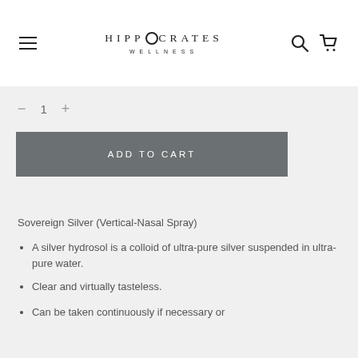HIPPOCRATES WELLNESS
- 1 +
ADD TO CART
Sovereign Silver (Vertical-Nasal Spray)
A silver hydrosol is a colloid of ultra-pure silver suspended in ultra-pure water.
Clear and virtually tasteless.
Can be taken continuously if necessary or